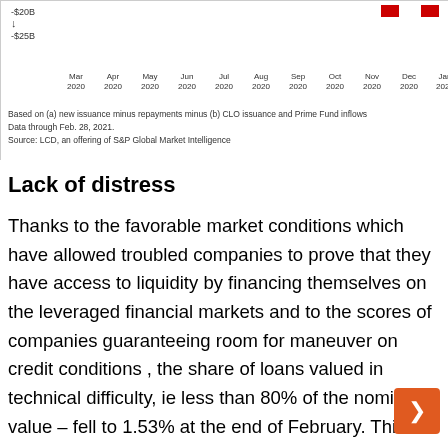[Figure (other): Partial view of a time-series chart showing data from Mar 2020 to Jan 2021, with y-axis values visible at -$20B and -$25B. Two colored legend markers (red) visible at top right.]
Based on (a) new issuance minus repayments minus (b) CLO issuance and Prime Fund inflows
Data through Feb. 28, 2021.
Source: LCD, an offering of S&P Global Market Intelligence
Lack of distress
Thanks to the favorable market conditions which have allowed troubled companies to prove that they have access to liquidity by financing themselves on the leveraged financial markets and to the scores of companies guaranteeing room for maneuver on credit conditions , the share of loans valued in technical difficulty, ie less than 80% of the nominal value – fell to 1.53% at the end of February. This is the lowest end-of-month reading since September 2018.